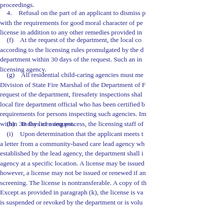proceedings.
4.    Refusal on the part of an applicant to dismiss p with the requirements for good moral character of per license in addition to any other remedies provided in
(f)    At the request of the department, the local co according to the licensing rules promulgated by the d department within 30 days of the request. Such an ins licensing agency.
(g)    All residential child-caring agencies must me Division of State Fire Marshal of the Department of F request of the department, firesafety inspections shall local fire department official who has been certified b requirements for persons inspecting such agencies. Im within 30 days of a request.
(h)    In the licensing process, the licensing staff of
(i)    Upon determination that the applicant meets t a letter from a community-based care lead agency wh established by the lead agency, the department shall i agency at a specific location. A license may be issued however, a license may not be issued or renewed if an screening. The license is nontransferable. A copy of th Except as provided in paragraph (k), the license is va is suspended or revoked by the department or is volu